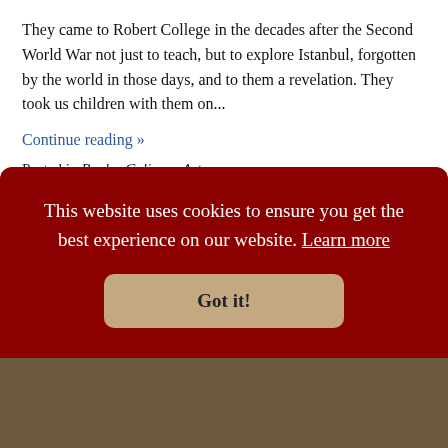They came to Robert College in the decades after the Second World War not just to teach, but to explore Istanbul, forgotten by the world in those days, and to them a revelation. They took us children with them on...
Continue reading »
Posted in Books, Culinary Arts
In the grand Italian manner
This website uses cookies to ensure you get the best experience on our website. Learn more
Got it!